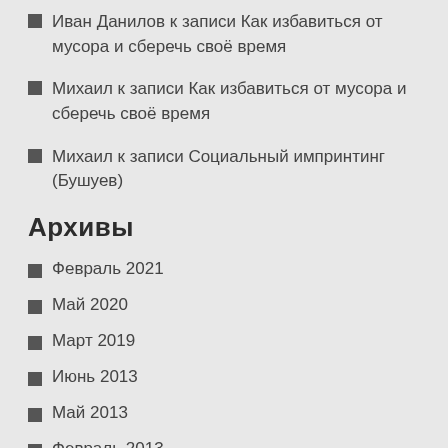Иван Данилов к записи Как избавиться от мусора и сберечь своё время
Михаил к записи Как избавиться от мусора и сберечь своё время
Михаил к записи Социальный импринтинг (Бушуев)
Архивы
Февраль 2021
Май 2020
Март 2019
Июнь 2013
Май 2013
Февраль 2013
Январь 2013
Октябрь 2012
Сентябрь 2012